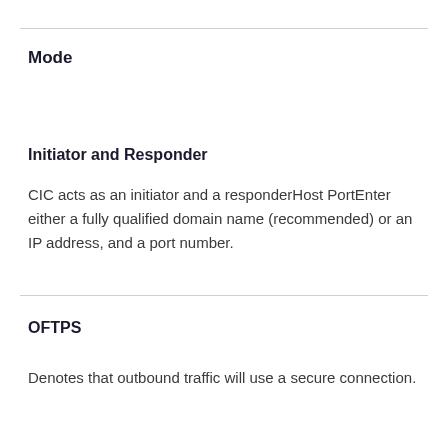Mode
Initiator and Responder
CIC acts as an initiator and a responderHost PortEnter either a fully qualified domain name (recommended) or an IP address, and a port number.
OFTPS
Denotes that outbound traffic will use a secure connection.